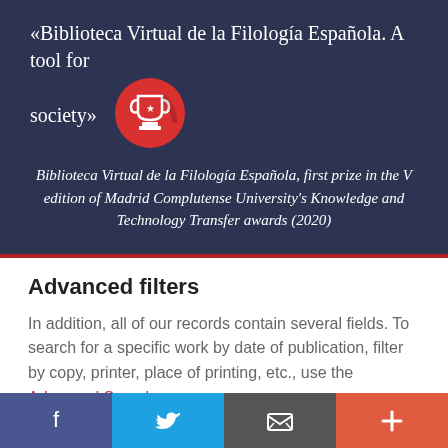«Biblioteca Virtual de la Filología Española. A tool for society»
Biblioteca Virtual de la Filología Española, first prize in the V edition of Madrid Complutense University's Knowledge and Technology Transfer awards (2020)
Advanced filters
In addition, all of our records contain several fields. To search for a specific work by date of publication, filter by copy, printer, place of printing, etc., use the Advanced Search.
Go to Advanced Search
[Figure (infographic): Red circle with white trophy icon]
[Figure (illustration): Orange shield icon in bottom right corner]
f  Twitter bird  email  +